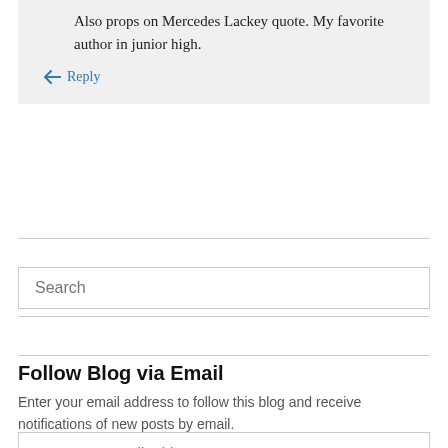Also props on Mercedes Lackey quote. My favorite author in junior high.
↳ Reply
Search
Follow Blog via Email
Enter your email address to follow this blog and receive notifications of new posts by email.
Enter your email address